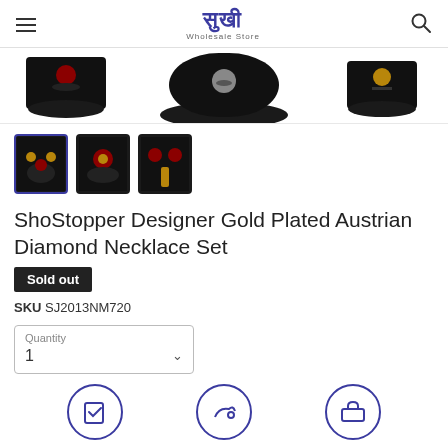Sukhi Wholesale Store
[Figure (photo): Three necklace sets displayed on black jewelry stands, showing gold and gemstone necklaces from the product catalog]
[Figure (photo): Three thumbnail images of the necklace set product: full set view (selected/active), closeup of necklace, and earring/bracelet view]
ShoStopper Designer Gold Plated Austrian Diamond Necklace Set
Sold out
SKU SJ2013NM720
Quantity 1
[Figure (illustration): Three partially visible circular icons with purple outlines showing shopping/delivery related symbols at the bottom of the page]